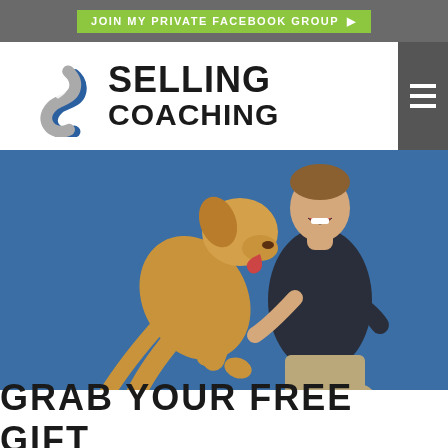JOIN MY PRIVATE FACEBOOK GROUP ▶
[Figure (logo): Selling Coaching logo with stylized S icon and text SELLING COACHING]
[Figure (photo): A man laughing as a golden retriever dog jumps up and licks his face, set against a blue background]
GRAB YOUR FREE GIFT